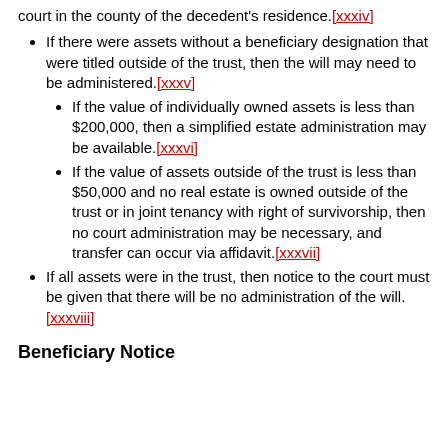court in the county of the decedent's residence.[xxxiv]
If there were assets without a beneficiary designation that were titled outside of the trust, then the will may need to be administered.[xxxv]
If the value of individually owned assets is less than $200,000, then a simplified estate administration may be available.[xxxvi]
If the value of assets outside of the trust is less than $50,000 and no real estate is owned outside of the trust or in joint tenancy with right of survivorship, then no court administration may be necessary, and transfer can occur via affidavit.[xxxvii]
If all assets were in the trust, then notice to the court must be given that there will be no administration of the will.[xxxviii]
Beneficiary Notice